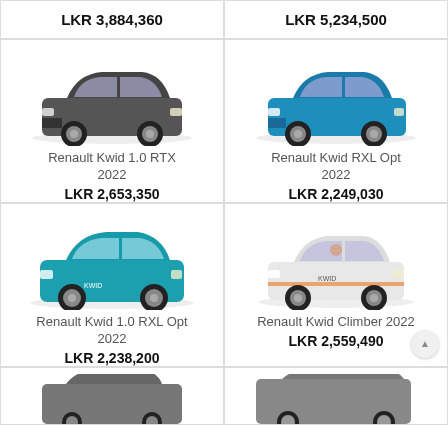LKR 3,884,360
LKR 5,234,500
[Figure (photo): Renault Kwid 1.0 RTX 2022 in dark grey color, front three-quarter view]
[Figure (photo): Renault Kwid RXL Opt 2022 in blue color, front three-quarter view]
Renault Kwid 1.0 RTX 2022
LKR 2,653,350
Renault Kwid RXL Opt 2022
LKR 2,249,030
[Figure (photo): Renault Kwid 1.0 RXL Opt 2022 in teal/blue color, front three-quarter view]
[Figure (photo): Renault Kwid Climber 2022 in white with orange accents, front three-quarter view]
Renault Kwid 1.0 RXL Opt 2022
LKR 2,238,200
Renault Kwid Climber 2022
LKR 2,559,490
[Figure (photo): Renault Kwid partial view at bottom, grey color]